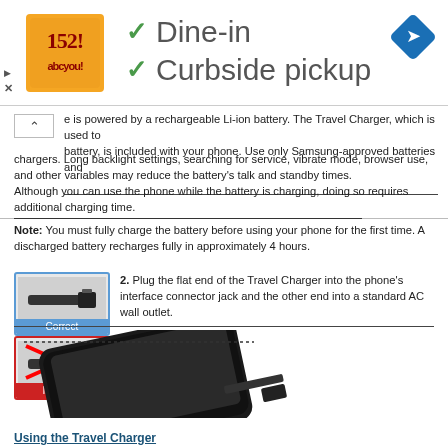[Figure (advertisement): Ad banner with restaurant logo (orange background with decorative text), checkmarks for Dine-in and Curbside pickup, and a blue navigation diamond icon on the right]
is powered by a rechargeable Li-ion battery. The Travel Charger, which is used to battery, is included with your phone. Use only Samsung-approved batteries and chargers. Long backlight settings, searching for service, vibrate mode, browser use, and other variables may reduce the battery's talk and standby times.
Although you can use the phone while the battery is charging, doing so requires additional charging time.
Note: You must fully charge the battery before using your phone for the first time. A discharged battery recharges fully in approximately 4 hours.
[Figure (photo): Correct charger connector image with blue border and 'Correct' label]
[Figure (photo): Incorrect charger connector image with red border, red X overlay, and 'Incorrect' label]
2. Plug the flat end of the Travel Charger into the phone's interface connector jack and the other end into a standard AC wall outlet.
[Figure (illustration): Illustration of a smartphone with a charger being plugged into the bottom connector jack]
Using the Travel Charger